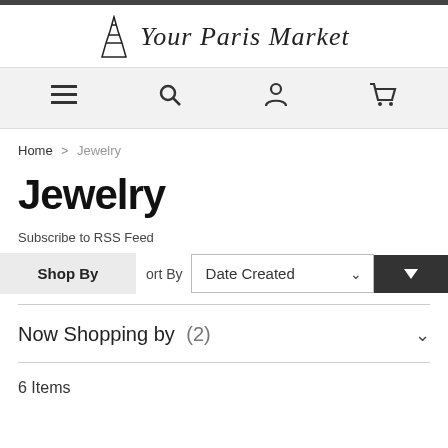Your Paris Market
≡  🔍  👤  🛒
Home > Jewelry
Jewelry
Subscribe to RSS Feed
Shop By  Sort By  Date Created
Now Shopping by (2)
6 Items